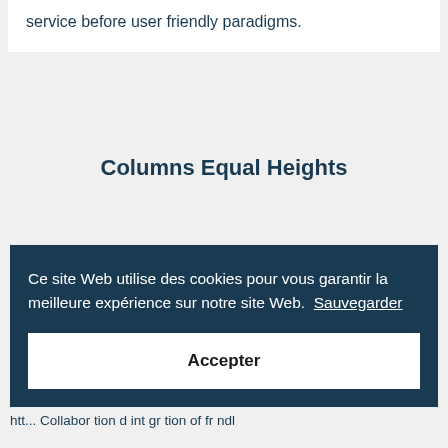service before user friendly paradigms.
Columns Equal Heights
Ce site Web utilise des cookies pour vous garantir la meilleure expérience sur notre site Web.  Sauvegarder
Accepter